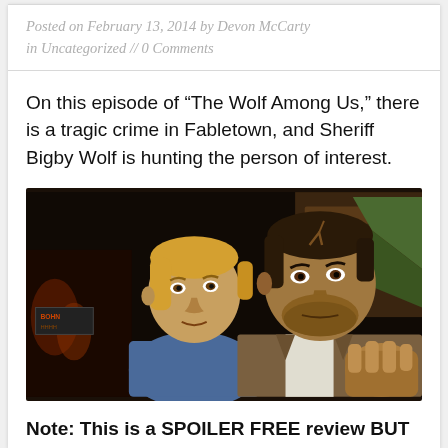Posted on February 13, 2014 by Devon McCarty in Uncategorized // 0 Comments
On this episode of “The Wolf Among Us,” there is a tragic crime in Fabletown, and Sheriff Bigby Wolf is hunting the person of interest.
[Figure (photo): Screenshot from 'The Wolf Among Us' video game showing two characters: a blonde man on the left and a dark-haired bearded man (Bigby Wolf) on the right grabbing the other character's collar, in a cel-shaded art style.]
Note: This is a SPOILER FREE review BUT